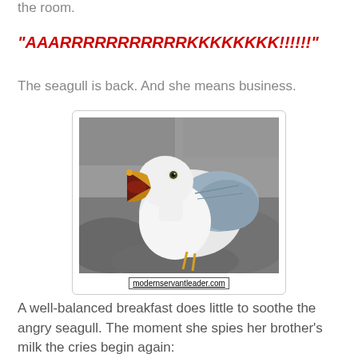the room.
"AAARRRRRRRRRRRKKKKKKKK!!!!!!"
The seagull is back. And she means business.
[Figure (photo): Close-up photo of a seagull with its beak wide open, appearing to be squawking or screaming. The bird is white with grey wings, set against a rocky background.]
modernservantleader.com
A well-balanced breakfast does little to soothe the angry seagull. The moment she spies her brother's milk the cries begin again: